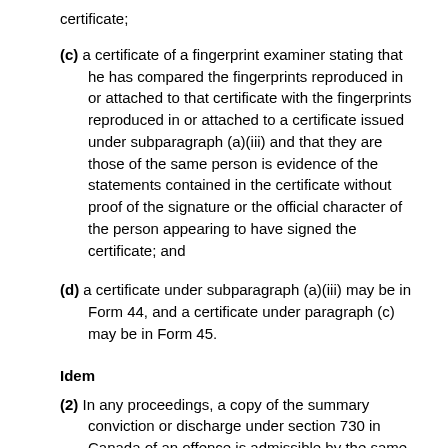certificate;
(c) a certificate of a fingerprint examiner stating that he has compared the fingerprints reproduced in or attached to that certificate with the fingerprints reproduced in or attached to a certificate issued under subparagraph (a)(iii) and that they are those of the same person is evidence of the statements contained in the certificate without proof of the signature or the official character of the person appearing to have signed the certificate; and
(d) a certificate under subparagraph (a)(iii) may be in Form 44, and a certificate under paragraph (c) may be in Form 45.
Idem
(2) In any proceedings, a copy of the summary conviction or discharge under section 730 in Canada of an offence is admissible by the same rules as the